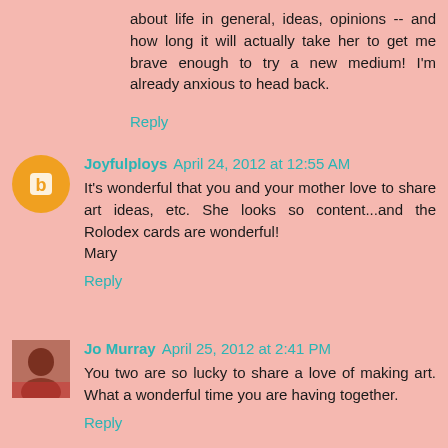about life in general, ideas, opinions -- and how long it will actually take her to get me brave enough to try a new medium! I'm already anxious to head back.
Reply
Joyfulploys April 24, 2012 at 12:55 AM
It's wonderful that you and your mother love to share art ideas, etc. She looks so content...and the Rolodex cards are wonderful!
Mary
Reply
Jo Murray April 25, 2012 at 2:41 PM
You two are so lucky to share a love of making art. What a wonderful time you are having together.
Reply